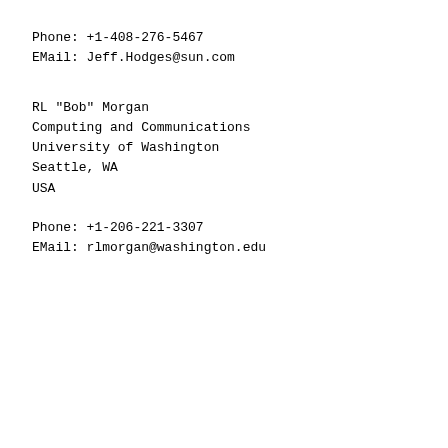Phone: +1-408-276-5467
EMail: Jeff.Hodges@sun.com
RL "Bob" Morgan
Computing and Communications
University of Washington
Seattle, WA
USA
Phone: +1-206-221-3307
EMail: rlmorgan@washington.edu